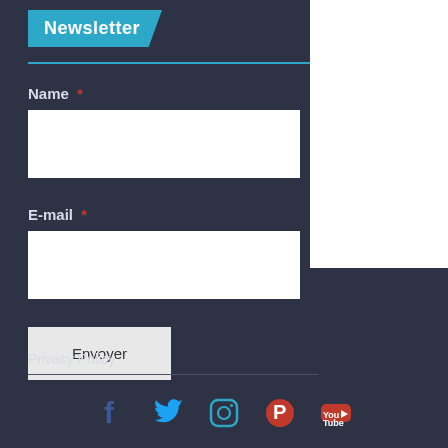Newsletter
Name *
E-mail *
Envoyer
Privacy Policy
[Figure (other): Social media icons: Facebook, Twitter, Instagram, Pinterest, YouTube]